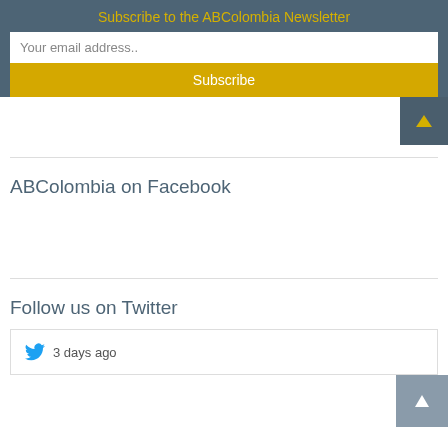Subscribe to the ABColombia Newsletter
Your email address..
Subscribe
ABColombia on Facebook
Follow us on Twitter
3 days ago